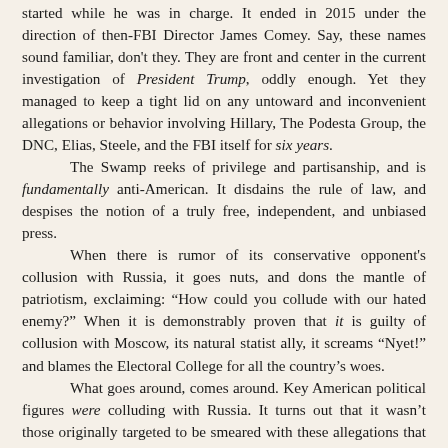started while he was in charge. It ended in 2015 under the direction of then-FBI Director James Comey. Say, these names sound familiar, don't they. They are front and center in the current investigation of President Trump, oddly enough. Yet they managed to keep a tight lid on any untoward and inconvenient allegations or behavior involving Hillary, The Podesta Group, the DNC, Elias, Steele, and the FBI itself for six years.

The Swamp reeks of privilege and partisanship, and is fundamentally anti-American. It disdains the rule of law, and despises the notion of a truly free, independent, and unbiased press.

When there is rumor of its conservative opponent's collusion with Russia, it goes nuts, and dons the mantle of patriotism, exclaiming: “How could you collude with our hated enemy?” When it is demonstrably proven that it is guilty of collusion with Moscow, its natural statist ally, it screams “Nyet!” and blames the Electoral College for all the country’s woes.

What goes around, comes around. Key American political figures were colluding with Russia. It turns out that it wasn’t those originally targeted to be smeared with these allegations that were doing so, however, but those that made them. Delicious.

It’s as if we found out Bill Clinton didn’t have sex with Monica Lewinsky during the Oval Office, but Ken Starr did. As if...